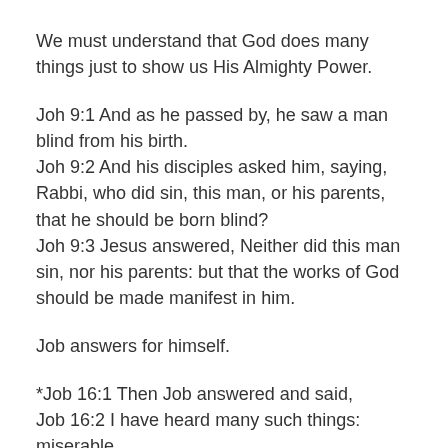We must understand that God does many things just to show us His Almighty Power.
Joh 9:1 And as he passed by, he saw a man blind from his birth.
Joh 9:2 And his disciples asked him, saying, Rabbi, who did sin, this man, or his parents, that he should be born blind?
Joh 9:3 Jesus answered, Neither did this man sin, nor his parents: but that the works of God should be made manifest in him.
Job answers for himself.
*Job 16:1 Then Job answered and said,
Job 16:2 I have heard many such things: miserable